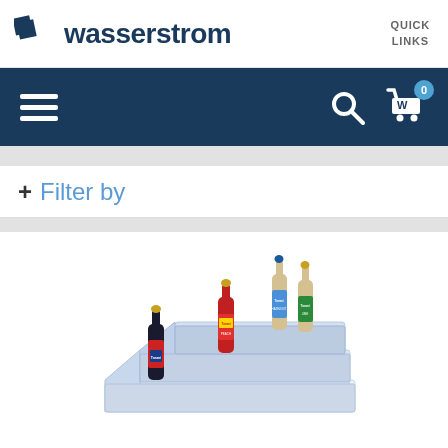wasserstrom | QUICK LINKS
[Figure (screenshot): Wasserstrom website navigation bar with hamburger menu, search icon, and shopping cart with 0 items badge]
+ Filter by
[Figure (photo): Torani syrup bottles displayed on a clear acrylic tiered step display organizer — four bottles in various flavors arranged on three steps]